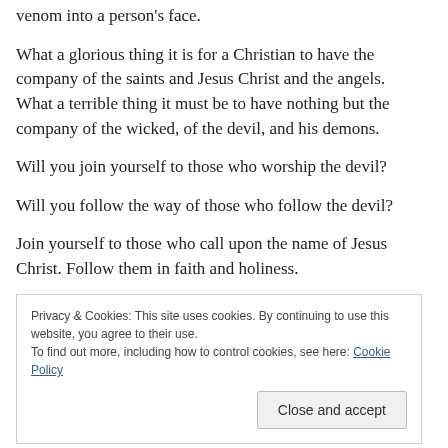venom into a person's face.
What a glorious thing it is for a Christian to have the company of the saints and Jesus Christ and the angels. What a terrible thing it must be to have nothing but the company of the wicked, of the devil, and his demons.
Will you join yourself to those who worship the devil?
Will you follow the way of those who follow the devil?
Join yourself to those who call upon the name of Jesus Christ. Follow them in faith and holiness.
Privacy & Cookies: This site uses cookies. By continuing to use this website, you agree to their use. To find out more, including how to control cookies, see here: Cookie Policy
Close and accept